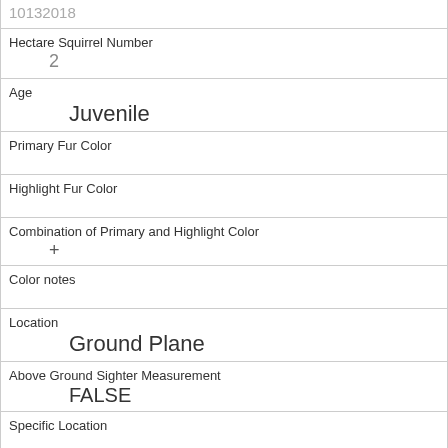| Field | Value |
| --- | --- |
| Hectare Squirrel Number | 2 |
| Age | Juvenile |
| Primary Fur Color |  |
| Highlight Fur Color |  |
| Combination of Primary and Highlight Color | + |
| Color notes |  |
| Location | Ground Plane |
| Above Ground Sighter Measurement | FALSE |
| Specific Location |  |
| Running | 0 |